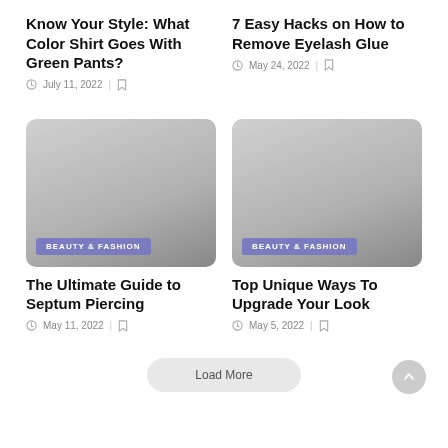Know Your Style: What Color Shirt Goes With Green Pants?
July 11, 2022
7 Easy Hacks on How to Remove Eyelash Glue
May 24, 2022
[Figure (photo): Beauty & Fashion article image placeholder (gray gradient)]
BEAUTY & FASHION
The Ultimate Guide to Septum Piercing
May 11, 2022
[Figure (photo): Beauty & Fashion article image placeholder (gray gradient)]
BEAUTY & FASHION
Top Unique Ways To Upgrade Your Look
May 5, 2022
Load More